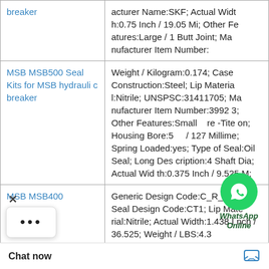| Product | Description |
| --- | --- |
| breaker | acturer Name:SKF; Actual Width:0.75 Inch / 19.05 Mi; Other Features:Large / 1 Butt Joint; Manufacturer Item Number: |
| MSB MSB500 Seal Kits for MSB hydraulic breaker | Weight / Kilogram:0.174; Case Construction:Steel; Lip Material:Nitrile; UNSPSC:31411705; Manufacturer Item Number:39923; Other Features:Small / re -Tite on; Housing Bore:5 / 127 Millime; Spring Loaded:yes; Type of Seal:Oil Seal; Long Description:4 Shaft Dia; Actual Width:0.375 Inch / 9.525 M; |
| MSB MSB400 | Generic Design Code:C_R_CT1; Seal Design Code:CT1; Lip Material:Nitrile; Actual Width:1.438 Inch / 36.525; Weight / LBS:4.3 urer Name:SKF; K g:Lip; Manufacture 52535_U... |
[Figure (other): WhatsApp Online chat widget overlay with green circle icon and italic text]
Chat now